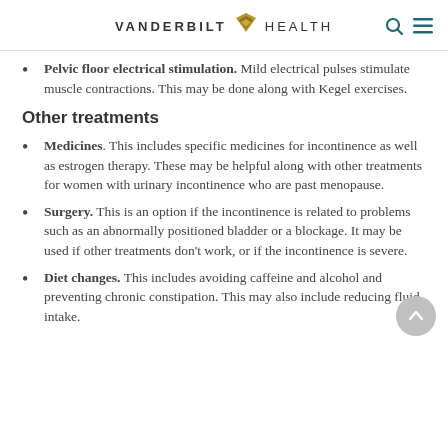VANDERBILT HEALTH
Pelvic floor electrical stimulation. Mild electrical pulses stimulate muscle contractions. This may be done along with Kegel exercises.
Other treatments
Medicines. This includes specific medicines for incontinence as well as estrogen therapy. These may be helpful along with other treatments for women with urinary incontinence who are past menopause.
Surgery. This is an option if the incontinence is related to problems such as an abnormally positioned bladder or a blockage. It may be used if other treatments don't work, or if the incontinence is severe.
Diet changes. This includes avoiding caffeine and alcohol and preventing chronic constipation. This may also include reducing fluid intake.